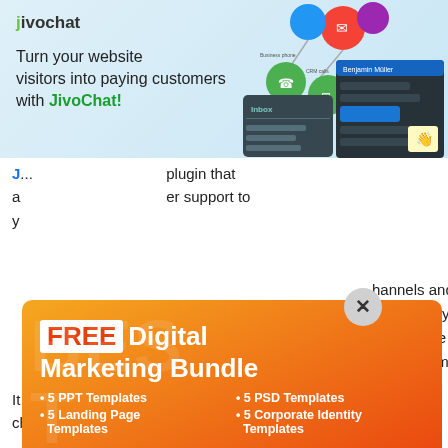[Figure (screenshot): JivoChat banner advertisement showing logo, tagline 'Turn your website visitors into paying customers with JivoChat!' and app interface screenshots with colorful chat icons]
JivoChat is a [plugin that allows] customer support to your [website]
[Figure (screenshot): Popup modal with orange-red gradient background offering FREE Digital Marketing Bundle including 5 PPT Templates, 5 PSD Templates, 5 Landing Page Templates, 5 Corporate Identity Templates, with email input and 'Get Bundle' button. Close button (x) in grey circle at top right.]
It [supports] many channels and lets you [manage] from the app. Also, you'll be able to [chat] in real-time and [customize] the widget to make or receive [calls].
It features archive messages, multi-agent chats, unlimited archive, reminders, quick phrases